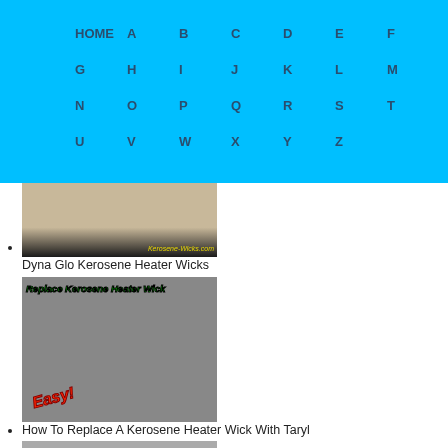HOME A B C D E F G H I J K L M N O P Q R S T U V W X Y Z
Dyna Glo Kerosene Heater Wicks
How To Replace A Kerosene Heater Wick With Taryl